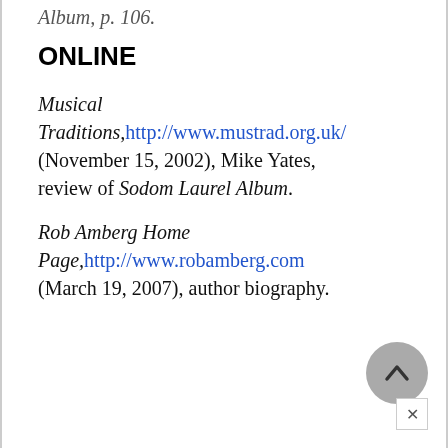Album, p. 106.
ONLINE
Musical Traditions, http://www.mustrad.org.uk/ (November 15, 2002), Mike Yates, review of Sodom Laurel Album.
Rob Amberg Home Page, http://www.robamberg.com (March 19, 2007), author biography.